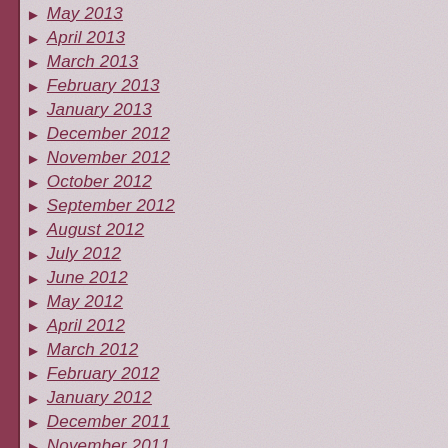May 2013
April 2013
March 2013
February 2013
January 2013
December 2012
November 2012
October 2012
September 2012
August 2012
July 2012
June 2012
May 2012
April 2012
March 2012
February 2012
January 2012
December 2011
November 2011
October 2011
September 2011
August 2011